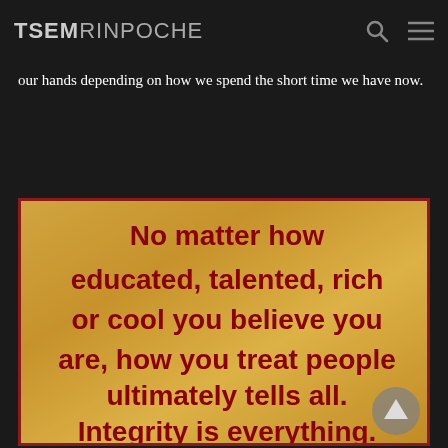TSEM RINPOCHE
our hands depending on how we spend the short time we have now.
[Figure (illustration): Quote image on aged parchment background with dark red bold text reading: No matter how educated, talented, rich or cool you believe you are, how you treat people ultimately tells all. Integrity is everything.]